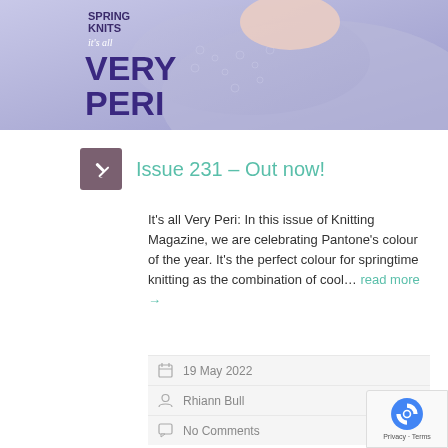[Figure (photo): Magazine cover showing a woman wearing a periwinkle/blue lace knitted shawl, with text 'Spring Knits', 'it's all', 'VERY', 'PERI' overlaid]
Issue 231 – Out now!
It's all Very Peri: In this issue of Knitting Magazine, we are celebrating Pantone's colour of the year. It's the perfect colour for springtime knitting as the combination of cool… read more →
19 May 2022
Rhiann Bull
No Comments